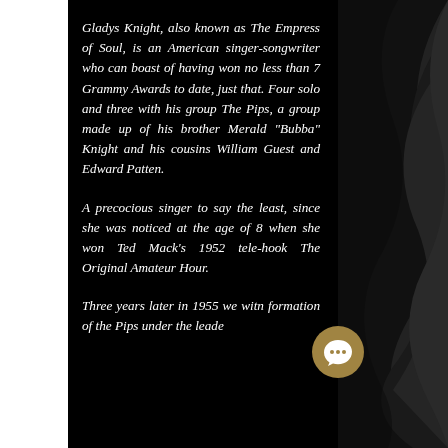Gladys Knight, also known as The Empress of Soul, is an American singer-songwriter who can boast of having won no less than 7 Grammy Awards to date, just that. Four solo and three with his group The Pips, a group made up of his brother Merald "Bubba" Knight and his cousins William Guest and Edward Patten.
A precocious singer to say the least, since she was noticed at the age of 8 when she won Ted Mack's 1952 tele-hook The Original Amateur Hour.
Three years later in 1955 we witn formation of the Pips under the leadership of th...